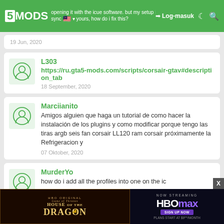5MODS | opening it with the icue software. but my setup is out of sync with yours, how do i fix this? | Log-masuk
19 Jun, 2020
L303
https://ru.gta5-mods.com/scripts/corsair-gtav#description_tab
18 September, 2020
Marciianito
Amigos alguien que haga un tutorial de como hacer la instalación de los plugins y como modificar porque tengo las tiras argb seis fan corsair LL120 ram corsair próximamente la Refrigeracion y
07 Oktober, 2020
MurderYo
how do i add all the profiles into one on the ic
[Figure (screenshot): Advertisement banner: House of the Dragon (HBO) on left, HBO Max Now Streaming sign-up on right]